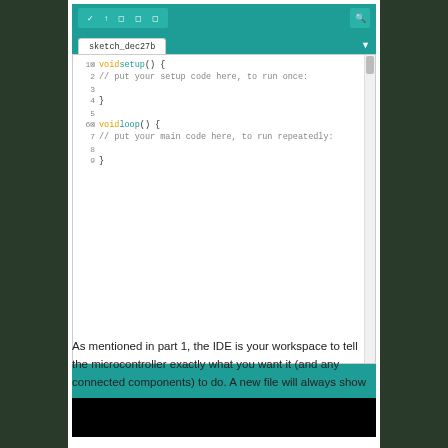[Figure (screenshot): Arduino IDE screenshot showing sketch_dec27b tab with default void setup() and void loop() template code. Teal header bar with tab, white code editor with line numbers 1-9, teal bottom bar, and black console area.]
As mentioned in part 1, the IDE is your workspace to tell the microcontroller exactly what you want it (and any connected components) to do. A new file will always show